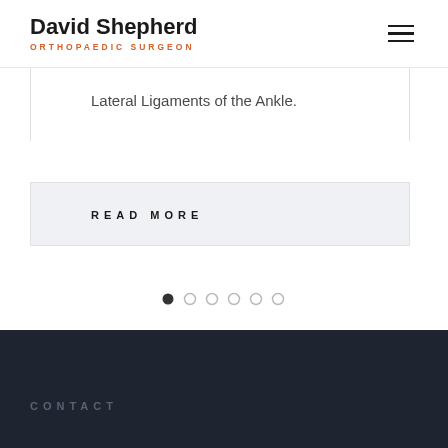David Shepherd ORTHOPAEDIC SURGEON
Lateral Ligaments of the Ankle.
READ MORE
[Figure (other): Carousel pagination dots — 6 dots with first dot active (filled dark), remaining 5 dots lighter/outlined]
CONTACT